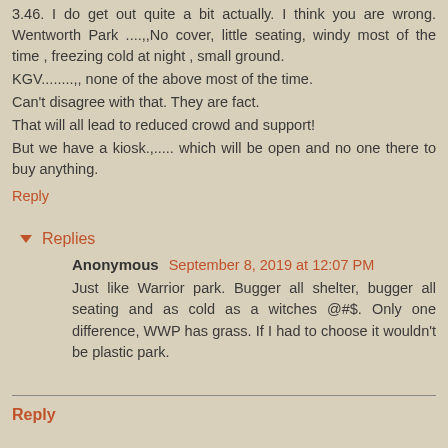3.46. I do get out quite a bit actually. I think you are wrong. Wentworth Park ....,,No cover, little seating, windy most of the time , freezing cold at night , small ground.
KGV........,, none of the above most of the time.
Can't disagree with that. They are fact.
That will all lead to reduced crowd and support!
But we have a kiosk.,..... which will be open and no one there to buy anything.
Reply
▾ Replies
Anonymous September 8, 2019 at 12:07 PM
Just like Warrior park. Bugger all shelter, bugger all seating and as cold as a witches @#$. Only one difference, WWP has grass. If I had to choose it wouldn't be plastic park.
Reply